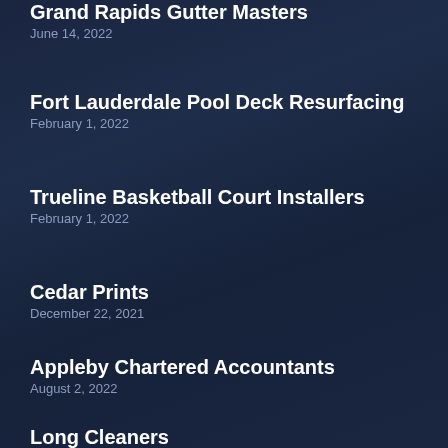Grand Rapids Gutter Masters
June 14, 2022
Fort Lauderdale Pool Deck Resurfacing
February 1, 2022
Trueline Basketball Court Installers
February 1, 2022
Cedar Prints
December 22, 2021
Appleby Chartered Accountants
August 2, 2022
Long Cleaners